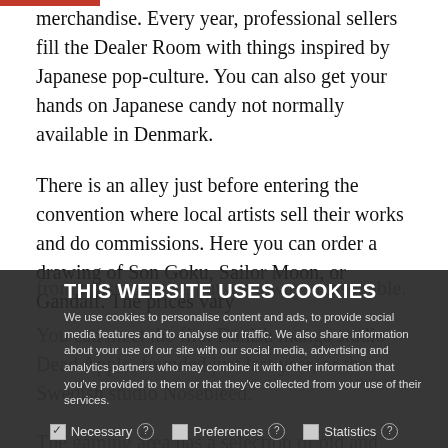merchandise. Every year, professional sellers fill the Dealer Room with things inspired by Japanese pop-culture. You can also get your hands on Japanese candy not normally available in Denmark.
There is an alley just before entering the convention where local artists sell their works and do commissions. Here you can order a drawing of Son Goku, Sailor Moon, or Gandalf. The prices vary from artist to artist, but are always reasonable.
You can meet the first Danish manga studio Dead Apple, founded just last year, or the Swedish studio Nosebleed.
THIS WEBSITE USES COOKIES
We use cookies to personalise content and ads, to provide social media features and to analyse our traffic. We also share information about your use of our site with our social media, advertising and analytics partners who may combine it with other information that you've provided to them or that they've collected from your use of their services.
The gaming area has a selection of old and new titles. There are classical zero-arcade and newer games as well as card games and tournaments where one can participate.
Necessary  Preferences  Statistics